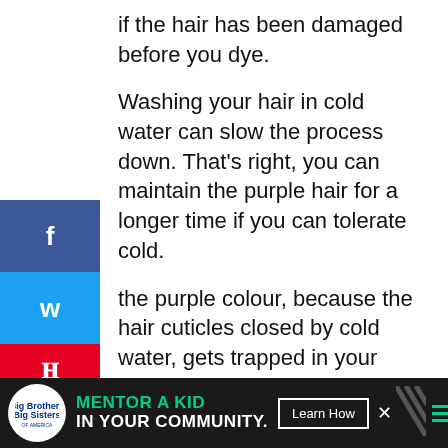if the hair has been damaged before you dye.
Washing your hair in cold water can slow the process down. That’s right, you can maintain the purple hair for a longer time if you can tolerate cold.
the purple colour, because the hair cuticles closed by cold water, gets trapped in your hair. The less colour your hair rinses, the more it appears purple.
[Figure (infographic): Social media share sidebar with Facebook, Twitter, and Pinterest buttons. Pinterest shows count of 44.]
[Figure (infographic): Advertisement bar at bottom: Big Brothers Big Sisters logo, 'MENTOR A KID IN YOUR COMMUNITY.' text in green/white, 'Learn How' button, close X button, diagonal pattern, hamburger menu icon, brand logo.]